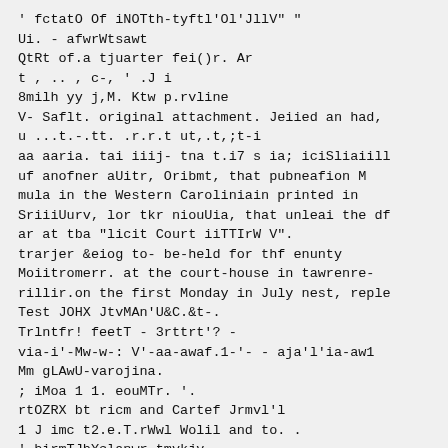' fctatO Of iNOTth-tyftl'Ol'JllV" "
Ui. - afwrWtsawt
QtRt of.a tjuarter fei()r. Ar
t , .. , c-, ' .J i
8milh yy j,M. Ktw p.rvline
V- Saflt. original attachment. Jeiied an had,
u ...t.-.tt. .r.r.t ut,.t,;t-i
aa aaria. tai iiij- tna t.i7 s ia; iciSliaiill
uf anofner aUitr, Oribmt, that pubneafion M
mula in the Western Caroliniain printed in
SriiiUurv, lor tkr niouUia, that unleai the df
ar at tba "licit Court iiTTIrW V".
trarjer &eiog to- be-held for thf enunty
Moiitromerr. at the court-house in tawrenre-
rillir.on the first Monday in July nest, reple
Test JOHX JtvMAn'U&C.&t-.
Trlntfr! feetT - 3rttrt'? -
via-i'-Mw-w-: V'-aa-awaf.1-'- - aja'l'ia-aw1
Mm gLAwU-varojina.
; iMoa 1 1. eouMTr. '.
rtOZRX bt ricm and Cartef Jrmvl'l
1 J imc t2.e.T.rWwl Wolil and to. .
'-birmTJbYclanwr tmvkjv
Vlrrrm-lsw!; fchdKathanielobf iummoned t